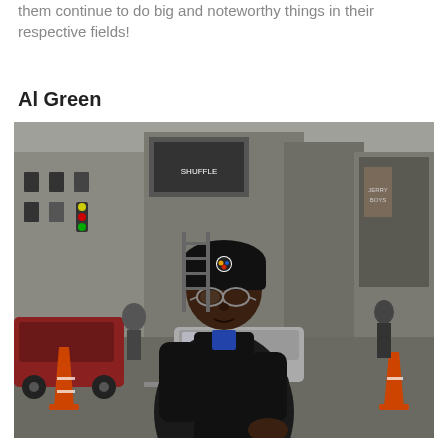them continue to do big and noteworthy things in their respective fields!
Al Green
[Figure (photo): Man wearing a black Pittsburgh Steelers beanie hat and black leather jacket, standing on a city street with orange traffic cones, vehicles, and urban buildings in the background.]